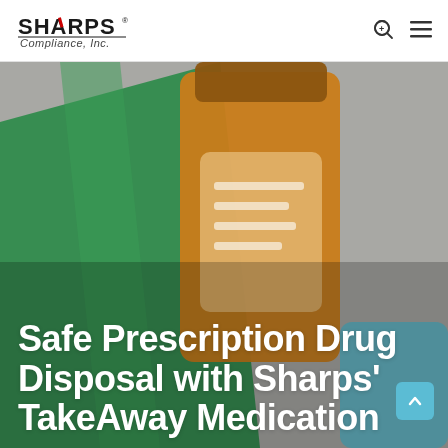[Figure (logo): Sharps Compliance, Inc. logo — black bold serif SHARPS text with red accent mark, italic Compliance, Inc. below]
[Figure (photo): Hero background photo showing orange prescription pill bottle, green card/folder, teal object on grey background]
Safe Prescription Drug Disposal with Sharps' TakeAway Medication Recovery Systems